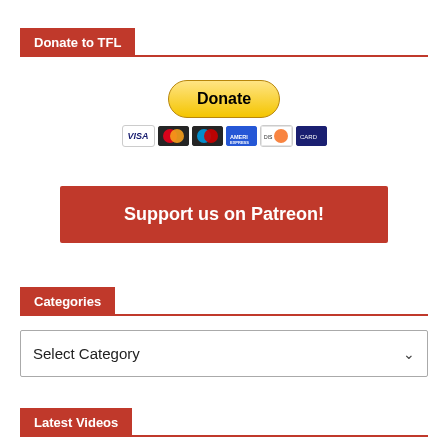Donate to TFL
[Figure (screenshot): PayPal Donate button with payment card icons (Visa, Mastercard, Maestro, American Express, Discover, and another card)]
[Figure (infographic): Red button reading 'Support us on Patreon!']
Categories
[Figure (screenshot): Dropdown select box with label 'Select Category' and a chevron arrow on the right]
Latest Videos